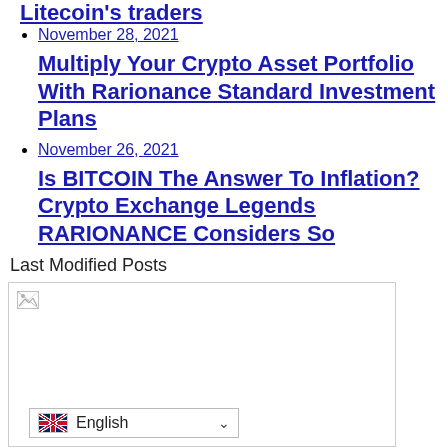Litecoin's traders
November 28, 2021
Multiply Your Crypto Asset Portfolio With Rarionance Standard Investment Plans
November 26, 2021
Is BITCOIN The Answer To Inflation? Crypto Exchange Legends RARIONANCE Considers So
Last Modified Posts
[Figure (photo): Broken image placeholder for a Last Modified Posts thumbnail]